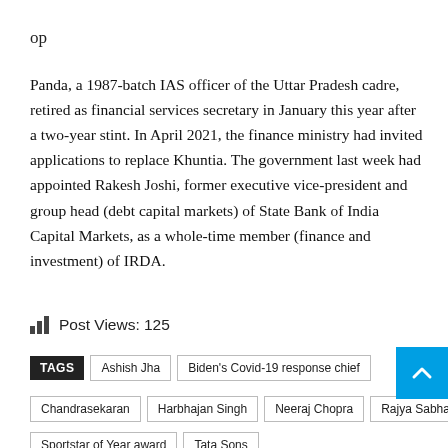op
Panda, a 1987-batch IAS officer of the Uttar Pradesh cadre, retired as financial services secretary in January this year after a two-year stint. In April 2021, the finance ministry had invited applications to replace Khuntia. The government last week had appointed Rakesh Joshi, former executive vice-president and group head (debt capital markets) of State Bank of India Capital Markets, as a whole-time member (finance and investment) of IRDA.
Post Views: 125
TAGS  Ashish Jha  Biden's Covid-19 response chief  Chandrasekaran  Harbhajan Singh  Neeraj Chopra  Rajya Sabha  Sportstar of Year award  Tata Sons